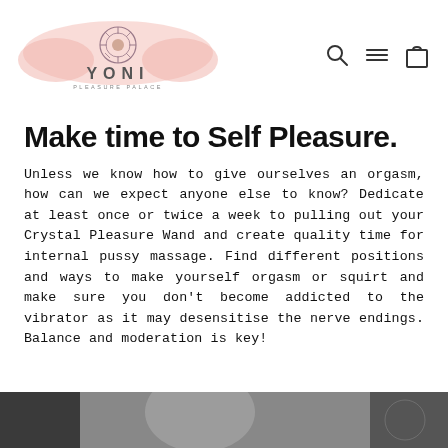[Figure (logo): Yoni Pleasure Palace logo with mandala design and pink cloud/wing motif]
[Figure (other): Navigation icons: search magnifier, hamburger menu, shopping bag]
Make time to Self Pleasure.
Unless we know how to give ourselves an orgasm, how can we expect anyone else to know? Dedicate at least once or twice a week to pulling out your Crystal Pleasure Wand and create quality time for internal pussy massage. Find different positions and ways to make yourself orgasm or squirt and make sure you don't become addicted to the vibrator as it may desensitise the nerve endings. Balance and moderation is key!
[Figure (photo): Partial black and white photo of a person visible at bottom of page]